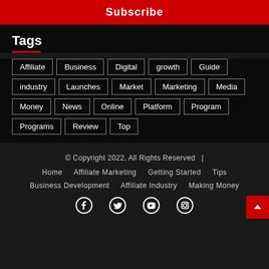Subscribe
Tags
Affiliate
Business
Digital
growth
Guide
industry
Launches
Market
Marketing
Media
Money
News
Online
Platform
Program
Programs
Review
Top
© Copyright 2022, All Rights Reserved  |
Home    Affiliate Marketing    Getting Started    Tips
Business Development    Affiliate Industry    Making Money